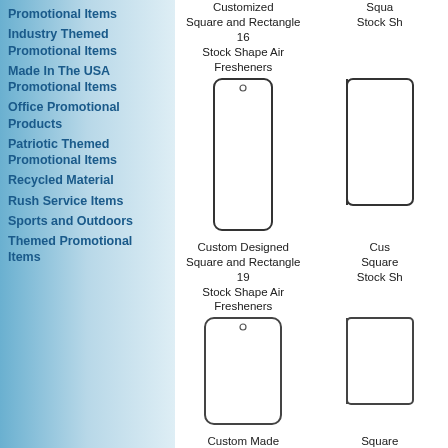Promotional Items
Industry Themed Promotional Items
Made In The USA Promotional Items
Office Promotional Products
Patriotic Themed Promotional Items
Recycled Material
Rush Service Items
Sports and Outdoors
Themed Promotional Items
Customized Square and Rectangle 16 Stock Shape Air Fresheners
[Figure (illustration): Tall narrow rectangle air freshener shape with rounded corners and small hole at top]
Custom Designed Square and Rectangle 19 Stock Shape Air Fresheners
[Figure (illustration): Wider rectangle air freshener shape with rounded corners and small hole at top]
Custom Made Square and Rectangle 22 Stock Shape Air Fresheners
[Figure (illustration): Shorter square air freshener shape with rounded corners and small hole at top]
Square Stock Shape (partially visible right)
[Figure (illustration): Partially visible right-side air freshener shapes]